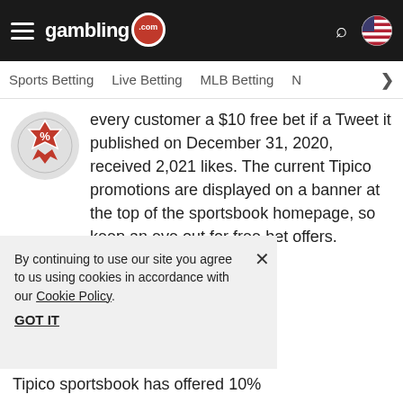gambling .com — Sports Betting | Live Betting | MLB Betting | N▶
every customer a $10 free bet if a Tweet it published on December 31, 2020, received 2,021 likes. The current Tipico promotions are displayed on a banner at the top of the sportsbook homepage, so keep an eye out for free bet offers.
By continuing to use our site you agree to us using cookies in accordance with our Cookie Policy.
GOT IT
Tipico sportsbook has offered 10%